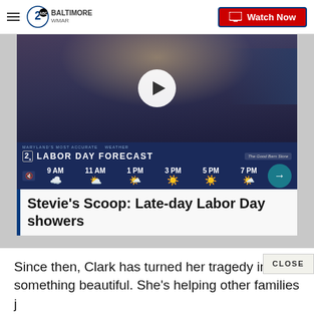2 BALTIMORE WMAR | Watch Now
[Figure (screenshot): Weather forecast video thumbnail showing Labor Day Forecast with times 9 AM, 11 AM, 1 PM, 3 PM, 5 PM, 7 PM and sunny weather icons. Play button overlay in center.]
Stevie's Scoop: Late-day Labor Day showers
Since then, Clark has turned her tragedy into something beautiful. She's helping other families j
like hers who have lo from the opioid epidemic. She calls it "Project Noelle"